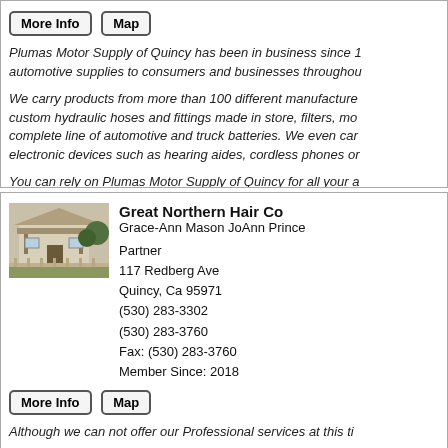More Info   Map
Plumas Motor Supply of Quincy has been in business since 1... automotive supplies to consumers and businesses throughout...
We carry products from more than 100 different manufacturers, custom hydraulic hoses and fittings made in store, filters, mo... complete line of automotive and truck batteries. We even car... electronic devices such as hearing aides, cordless phones or...
You can rely on Plumas Motor Supply of Quincy for all your a...
[Figure (photo): Photo of a building with a covered porch and fence, outdoor setting]
Great Northern Hair Co
Grace-Ann Mason JoAnn Prince

Partner
117 Redberg Ave
Quincy, Ca 95971
(530) 283-3302
(530) 283-3760
Fax: (530) 283-3760
Member Since: 2018
More Info   Map
Although we can not offer our Professional services at this ti...
Our indoor Tanning Bed is available as well.